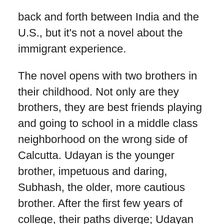back and forth between India and the U.S., but it's not a novel about the immigrant experience.
The novel opens with two brothers in their childhood. Not only are they brothers, they are best friends playing and going to school in a middle class neighborhood on the wrong side of Calcutta. Udayan is the younger brother, impetuous and daring, Subhash, the older, more cautious brother. After the first few years of college, their paths diverge; Udayan becomes involved in Maoist revolutionary underground activities: Subhash goes to the US to complete his graduate work.
The decisions and consequences that each of the brothers makes early in the story reverberate throughout the story, and as it turns out, throughout Subhash's life and the life of the next generation.